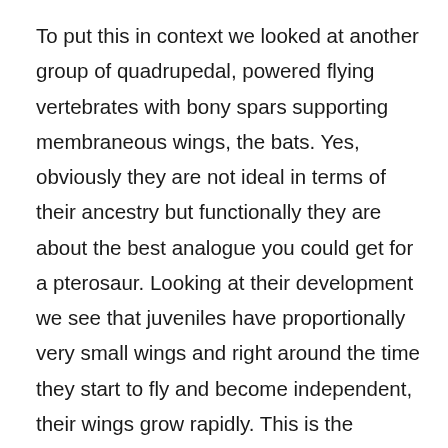To put this in context we looked at another group of quadrupedal, powered flying vertebrates with bony spars supporting membraneous wings, the bats. Yes, obviously they are not ideal in terms of their ancestry but functionally they are about the best analogue you could get for a pterosaur. Looking at their development we see that juveniles have proportionally very small wings and right around the time they start to fly and become independent, their wings grow rapidly. This is the pattern we would expect, young animals have only so much they can invest in their development and growing wings that are not being used is what we would expect, exactly as things like sheep (and indeed dinosaurs) don't grow their horns until they reach sexual maturity, they are not being used before then. We do though, see the bats developing their legs early as they need to grip into cave roofs and their